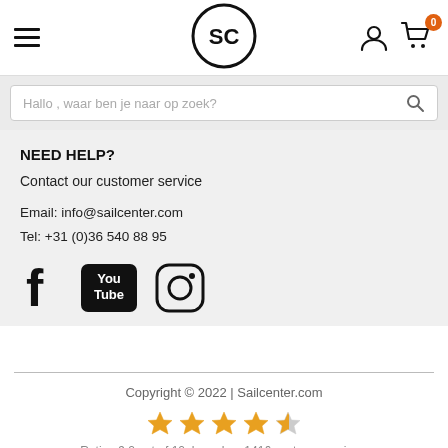SC logo, hamburger menu, user icon, cart icon with badge 0
Hallo , waar ben je naar op zoek?
NEED HELP?
Contact our customer service
Email: info@sailcenter.com
Tel: +31 (0)36 540 88 95
[Figure (illustration): Social media icons: Facebook, YouTube, Instagram]
Copyright © 2022 | Sailcenter.com
[Figure (illustration): 4.5 star rating out of 5 stars (gold stars)]
Rating 9.2 out of 10, based on 1416 customer reviews